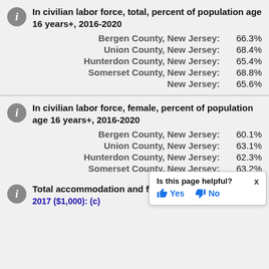In civilian labor force, total, percent of population age 16 years+, 2016-2020
Bergen County, New Jersey: 66.3%
Union County, New Jersey: 68.4%
Hunterdon County, New Jersey: 65.4%
Somerset County, New Jersey: 68.8%
New Jersey: 65.6%
In civilian labor force, female, percent of population age 16 years+, 2016-2020
Bergen County, New Jersey: 60.1%
Union County, New Jersey: 63.1%
Hunterdon County, New Jersey: 62.3%
Somerset County, New Jersey: 63.2%
Total accommodation and food... 2017 ($1,000): (c)
Is this page helpful? Yes No